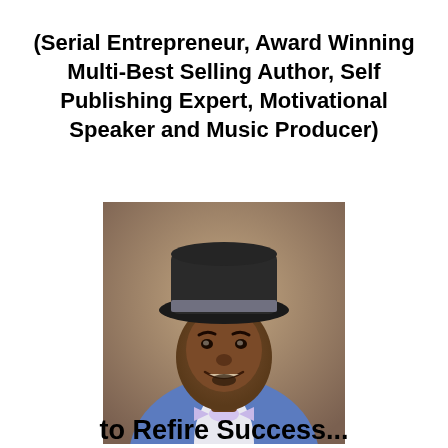(Serial Entrepreneur, Award Winning Multi-Best Selling Author, Self Publishing Expert, Motivational Speaker and Music Producer)
[Figure (photo): Professional portrait photograph of a man wearing a blue suit, bow tie, and black fedora hat, smiling against a brown studio background]
to Refire Success...